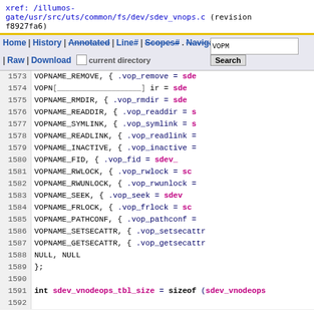xref: /illumos-gate/usr/src/uts/common/fs/dev/sdev_vnops.c (revision f8927fa6)
[Figure (screenshot): Navigation bar with Home | History | Annotated | Line# | Scopes# | Navigate# links, search input box and Search button, Raw | Download links, current directory checkbox]
1573  VOPNAME_REMOVE,  { .vop_remove = sde
1574  VOPN  [search box]  Search  ir = sde
1575  VOPNAME_RMDIR,  { .vop_rmdir = sde
1576  VOPNAME_READDIR,  { .vop_readdir = s
1577  VOPNAME_SYMLINK,  { .vop_symlink = s
1578  VOPNAME_READLINK,  { .vop_readlink =
1579  VOPNAME_INACTIVE,  { .vop_inactive =
1580  VOPNAME_FID,  { .vop_fid = sdev_
1581  VOPNAME_RWLOCK,  { .vop_rwlock = sc
1582  VOPNAME_RWUNLOCK,  { .vop_rwunlock =
1583  VOPNAME_SEEK,  { .vop_seek = sdev
1584  VOPNAME_FRLOCK,  { .vop_frlock = sc
1585  VOPNAME_PATHCONF,  { .vop_pathconf =
1586  VOPNAME_SETSECATTR,  { .vop_setsecattr
1587  VOPNAME_GETSECATTR,  { .vop_getsecattr
1588  NULL,  NULL
1589  };
1590
1591  int sdev_vnodeops_tbl_size = sizeof (sdev_vnodeops
1592
served by {OpenGrok} on Java
Last Index update Tue Jul 12 07:04:25 UTC 2022